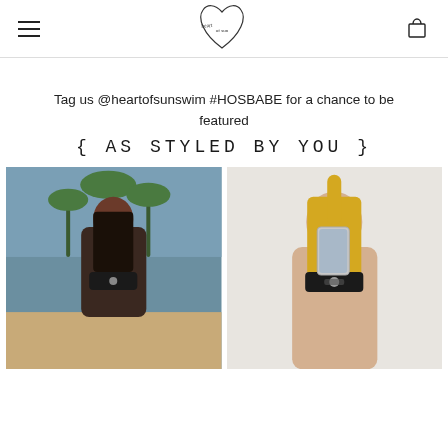[Figure (logo): Heart of Sun swim brand logo — a heart shape with cursive text inside, drawn in thin black lines]
Tag us @heartofsunswim #HOSBABE for a chance to be featured
{ AS STYLED BY YOU }
[Figure (photo): Woman with long dark hair wearing a black bikini top with hardware detail, standing on a beach with palm trees in the background]
[Figure (photo): Blonde woman in a black bikini top with hardware detail taking a mirror selfie with a phone against a white background]